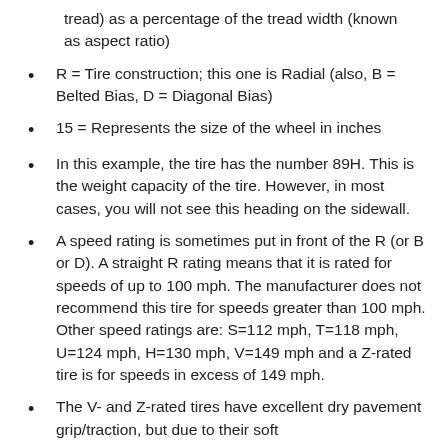tread) as a percentage of the tread width (known as aspect ratio)
R = Tire construction; this one is Radial (also, B = Belted Bias, D = Diagonal Bias)
15 = Represents the size of the wheel in inches
In this example, the tire has the number 89H. This is the weight capacity of the tire. However, in most cases, you will not see this heading on the sidewall.
A speed rating is sometimes put in front of the R (or B or D). A straight R rating means that it is rated for speeds of up to 100 mph. The manufacturer does not recommend this tire for speeds greater than 100 mph. Other speed ratings are: S=112 mph, T=118 mph, U=124 mph, H=130 mph, V=149 mph and a Z-rated tire is for speeds in excess of 149 mph.
The V- and Z-rated tires have excellent dry pavement grip/traction, but due to their soft